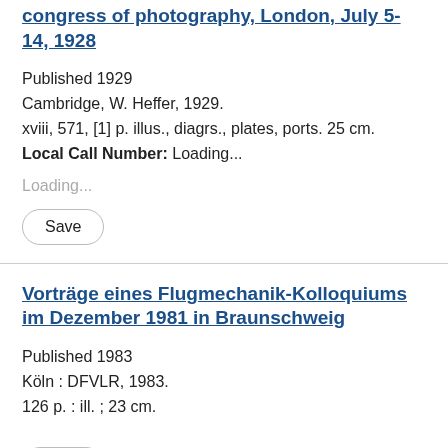congress of photography, London, July 5-14, 1928
Published 1929
Cambridge, W. Heffer, 1929.
xviii, 571, [1] p. illus., diagrs., plates, ports. 25 cm.
Local Call Number: Loading...
Loading...
Save
Vorträge eines Flugmechanik-Kolloquiums im Dezember 1981 in Braunschweig
Published 1983
Köln : DFVLR, 1983.
126 p. : ill. ; 23 cm.
Save